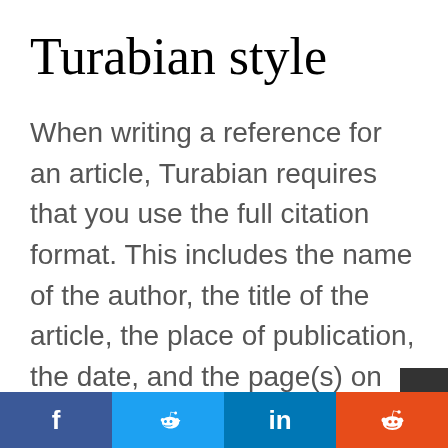Turabian style
When writing a reference for an article, Turabian requires that you use the full citation format. This includes the name of the author, the title of the article, the place of publication, the date, and the page(s) on which the work was published. For subsequent citations of the same source, you may use the